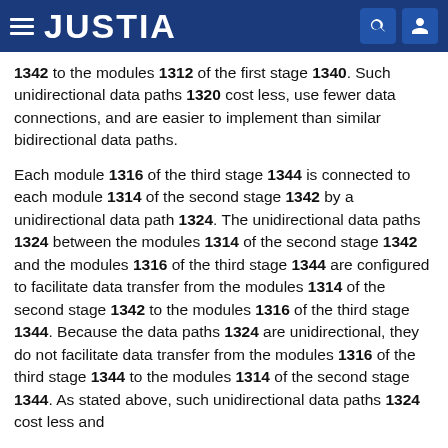JUSTIA
1342 to the modules 1312 of the first stage 1340. Such unidirectional data paths 1320 cost less, use fewer data connections, and are easier to implement than similar bidirectional data paths.
Each module 1316 of the third stage 1344 is connected to each module 1314 of the second stage 1342 by a unidirectional data path 1324. The unidirectional data paths 1324 between the modules 1314 of the second stage 1342 and the modules 1316 of the third stage 1344 are configured to facilitate data transfer from the modules 1314 of the second stage 1342 to the modules 1316 of the third stage 1344. Because the data paths 1324 are unidirectional, they do not facilitate data transfer from the modules 1316 of the third stage 1344 to the modules 1314 of the second stage 1344. As stated above, such unidirectional data paths 1324 cost less and